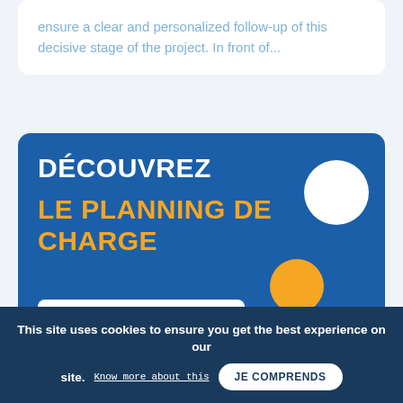ensure a clear and personalized follow-up of this decisive stage of the project. In front of...
[Figure (infographic): Blue promotional card with text DÉCOUVREZ LE PLANNING DE CHARGE, decorative circles, and a Gantt chart screenshot]
This site uses cookies to ensure you get the best experience on our site. Know more about this JE COMPRENDS